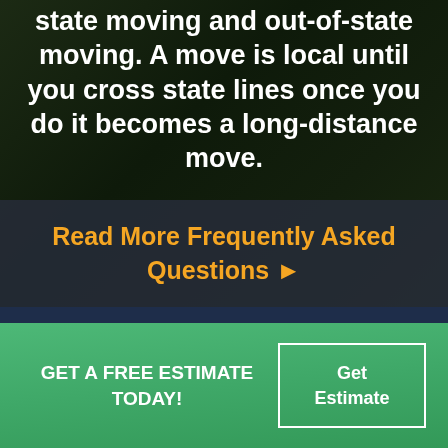state moving and out-of-state moving. A move is local until you cross state lines once you do it becomes a long-distance move.
Read More Frequently Asked Questions ▶
GET A FREE ESTIMATE TODAY!
Get Estimate